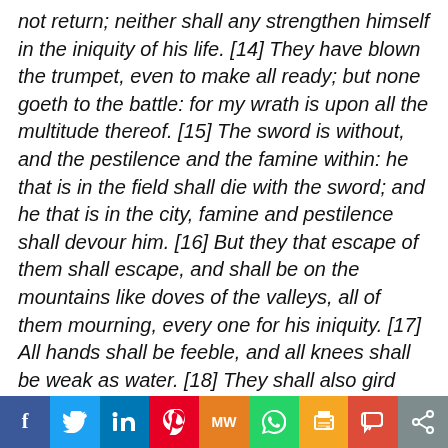not return; neither shall any strengthen himself in the iniquity of his life. [14] They have blown the trumpet, even to make all ready; but none goeth to the battle: for my wrath is upon all the multitude thereof. [15] The sword is without, and the pestilence and the famine within: he that is in the field shall die with the sword; and he that is in the city, famine and pestilence shall devour him. [16] But they that escape of them shall escape, and shall be on the mountains like doves of the valleys, all of them mourning, every one for his iniquity. [17] All hands shall be feeble, and all knees shall be weak as water. [18] They shall also gird themselves with sackcloth, and horror shall cover them; and shame shall be upon all faces, and baldness upon all their heads. [19] They shall cast their silver in the
[Figure (other): Social media share buttons bar: Facebook, Twitter, LinkedIn, Pinterest, MeWe, WhatsApp, Print, Parler, Share]